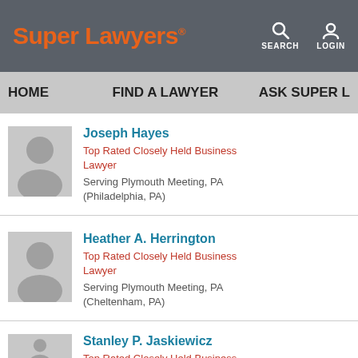Super Lawyers® | SEARCH | LOGIN
HOME | FIND A LAWYER | ASK SUPER L
Joseph Hayes
Top Rated Closely Held Business Lawyer
Serving Plymouth Meeting, PA
(Philadelphia, PA)
Heather A. Herrington
Top Rated Closely Held Business Lawyer
Serving Plymouth Meeting, PA
(Cheltenham, PA)
Stanley P. Jaskiewicz
Top Rated Closely Held Business Lawyer